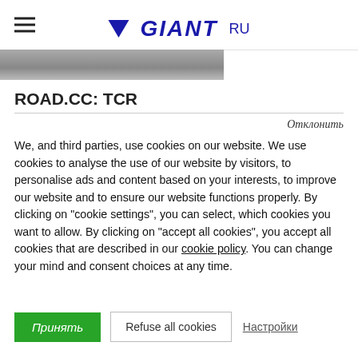GIANT RU
[Figure (photo): Partial photo strip showing road/cycling scene]
ROAD.CC: TCR
Отклонить
We, and third parties, use cookies on our website. We use cookies to analyse the use of our website by visitors, to personalise ads and content based on your interests, to improve our website and to ensure our website functions properly. By clicking on “cookie settings”, you can select, which cookies you want to allow. By clicking on “accept all cookies”, you accept all cookies that are described in our cookie policy. You can change your mind and consent choices at any time.